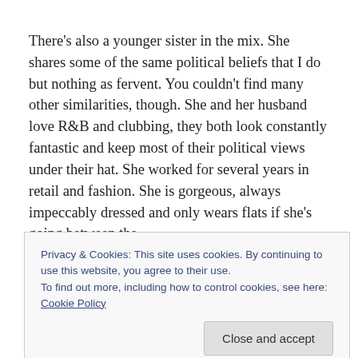There's also a younger sister in the mix. She shares some of the same political beliefs that I do but nothing as fervent. You couldn't find many other similarities, though. She and her husband love R&B and clubbing, they both look constantly fantastic and keep most of their political views under their hat. She worked for several years in retail and fashion. She is gorgeous, always impeccably dressed and only wears flats if she's going between the
Privacy & Cookies: This site uses cookies. By continuing to use this website, you agree to their use.
To find out more, including how to control cookies, see here: Cookie Policy
Close and accept
as surprised as we are. I realize that isn't what really gets